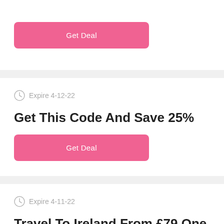[Figure (other): Pink 'Get Deal' button at top of first card]
Expire 4-12-22
Get This Code And Save 25%
[Figure (other): Pink 'Get Deal' button for second card]
Expire 4-11-22
Travel To Ireland From £79 One Way